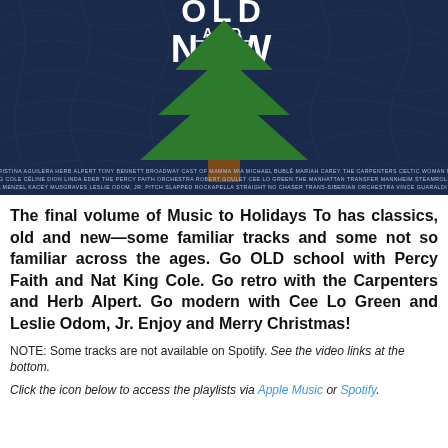[Figure (illustration): Album cover for 'Music to Holidays To: Old and New' showing stylized text 'OLD AND NEW' at top, a green Christmas tree illustration on dark navy blue swirling pattern background, with artist credits in small text at bottom of image.]
The final volume of Music to Holidays To has classics, old and new—some familiar tracks and some not so familiar across the ages. Go OLD school with Percy Faith and Nat King Cole. Go retro with the Carpenters and Herb Alpert. Go modern with Cee Lo Green and Leslie Odom, Jr. Enjoy and Merry Christmas!
NOTE: Some tracks are not available on Spotify. See the video links at the bottom.
Click the icon below to access the playlists via Apple Music or Spotify.